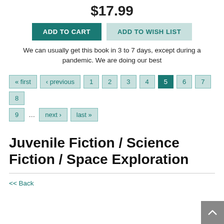$17.99
ADD TO CART
ADD TO WISH LIST
We can usually get this book in 3 to 7 days, except during a pandemic. We are doing our best
« first ‹ previous 1 2 3 4 5 6 7 8 9 … next › last »
Juvenile Fiction / Science Fiction / Space Exploration
<< Back